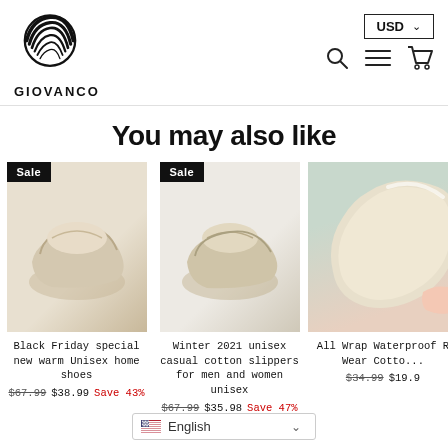[Figure (logo): Giovanco logo: black circular graphic with layered curved lines, and GIOVANCO text below]
[Figure (screenshot): USD currency selector dropdown button and search/menu/cart icons in header]
You may also like
[Figure (photo): Product card 1: Sale badge, Black Friday special new warm Unisex home shoes. Old price $67.99, New price $38.99, Save 43%]
[Figure (photo): Product card 2: Sale badge, Winter 2021 unisex casual cotton slippers for men and women unisex. Old price $67.99, New price $35.98, Save 47%]
[Figure (photo): Product card 3 (partial): All Wrap Waterproof Wear Cotto... Old price $34.99, New price $19.9...]
English language selector